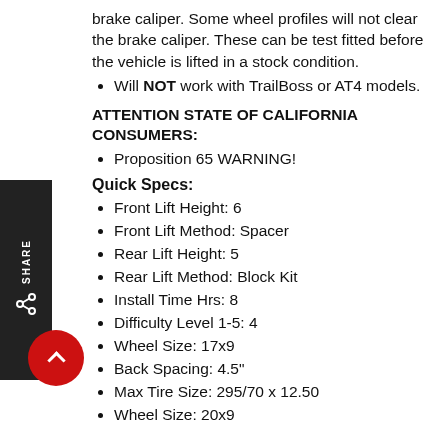brake caliper. Some wheel profiles will not clear the brake caliper. These can be test fitted before the vehicle is lifted in a stock condition.
Will NOT work with TrailBoss or AT4 models.
ATTENTION STATE OF CALIFORNIA CONSUMERS:
Proposition 65 WARNING!
Quick Specs:
Front Lift Height: 6
Front Lift Method: Spacer
Rear Lift Height: 5
Rear Lift Method: Block Kit
Install Time Hrs: 8
Difficulty Level 1-5: 4
Wheel Size: 17x9
Back Spacing: 4.5"
Max Tire Size: 295/70 x 12.50
Wheel Size: 20x9